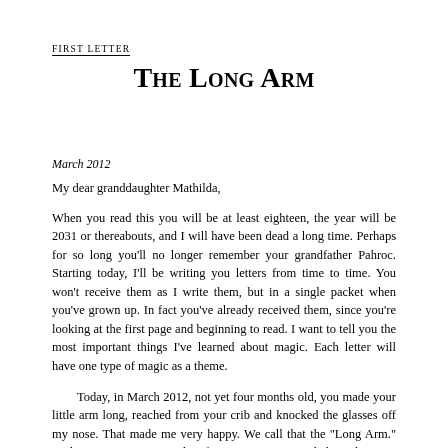FIRST LETTER
The Long Arm
March 2012
My dear granddaughter Mathilda,
When you read this you will be at least eighteen, the year will be 2031 or thereabouts, and I will have been dead a long time. Perhaps for so long you'll no longer remember your grandfather Pahroc. Starting today, I'll be writing you letters from time to time. You won't receive them as I write them, but in a single packet when you've grown up. In fact you've already received them, since you're looking at the first page and beginning to read. I want to tell you the most important things I've learned about magic. Each letter will have one type of magic as a theme.
Today, in March 2012, not yet four months old, you made your little arm long, reached from your crib and knocked the glasses off my nose. That made me very happy. We call that the "Long Arm." It's how we recognize a talent for sorcery, even in a baby. It happens unconsciously, in half sleep, and is forgotten at first, reappearing only five or six years later. You